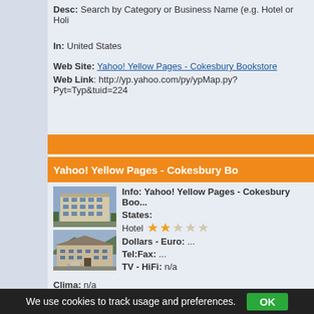Desc: Search by Category or Business Name (e.g. Hotel or Holiday)
In: United States
Web Site: Yahoo! Yellow Pages - Cokesbury Bookstore
Web Link: http://yp.yahoo.com/py/ypMap.py?Pyt=Typ&tuid=224
Yahoo! Yellow Pages - Cokesbury Bo...
[Figure (photo): Photo of multi-story hotel building, white/beige facade]
[Figure (photo): Photo of hotel building exterior with parking area]
Info: Yahoo! Yellow Pages - Cokesbury Boo... States:
Hotel ★★☆☆☆
Dollars - Euro: ...
Tel:Fax: ...
TV - HiFi: n/a
Clima: n/a
Frigobar: n/a
Desc: Search by Category or Business Name (e.g. Hotel or Holi...
In: United States
We use cookies to track usage and preferences.